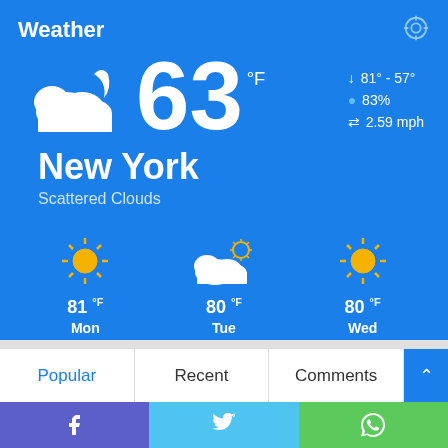Weather
63 °F
New York
Scattered Clouds
81° - 57°
83%
2.59 mph
81 °F Mon
80 °F Tue
80 °F Wed
Popular | Recent | Comments
[Figure (infographic): Weather app UI showing cloud with moon icon, temperature 63°F, New York, Scattered Clouds, high/low 81-57, humidity 83%, wind 2.59 mph, 3-day forecast Mon 81F, Tue 80F, Wed 80F]